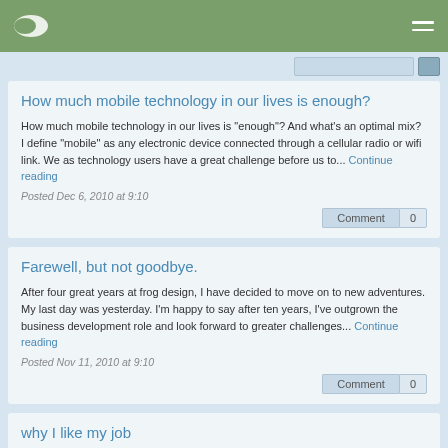Navigation bar with logo and menu icon
How much mobile technology in our lives is enough?
How much mobile technology in our lives is "enough"? And what's an optimal mix? I define "mobile" as any electronic device connected through a cellular radio or wifi link. We as technology users have a great challenge before us to... Continue reading
Posted Dec 6, 2010 at 9:10
Comment 0
Farewell, but not goodbye.
After four great years at frog design, I have decided to move on to new adventures. My last day was yesterday. I'm happy to say after ten years, I've outgrown the business development role and look forward to greater challenges... Continue reading
Posted Nov 11, 2010 at 9:10
Comment 0
why I like my job
Why do I enjoy my job at frog design so much? Because to work